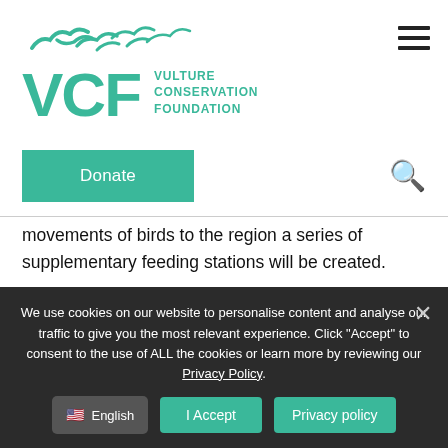[Figure (logo): VCF Vulture Conservation Foundation logo with flying birds silhouettes in teal/green color]
[Figure (other): Hamburger menu icon (three horizontal lines)]
[Figure (other): Donate button (teal) and search icon]
movements of birds to the region a series of supplementary feeding stations will be created.
The project is led by the Generalitat of Valencia, in collaboration with the Autonomous Communities from Aragón and Catalonia, the Spanish Ministry of Agriculture,
We use cookies on our website to personalise content and analyse our traffic to give you the most relevant experience. Click "Accept" to consent to the use of ALL the cookies or learn more by reviewing our Privacy Policy.